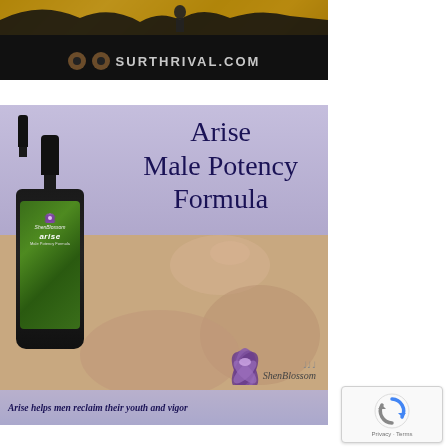[Figure (photo): Surthrival.com website banner — black background with gold sparkle/desert landscape silhouette at top, logo with two circles and SURTHRIVAL.COM text in grey]
[Figure (photo): Arise Male Potency Formula product image by ShenBlossom. Purple-lavender top section with dark blue serif title text 'Arise Male Potency Formula', dropper bottle with green label on left, couple photo in background, lotus flower logo, ShenBlossom script branding, and caption text 'Arise helps men reclaim their youth and vigor']
Arise helps men reclaim their youth and vigor
[Figure (other): Google reCAPTCHA widget — white box with blue/grey recycling-arrows captcha icon and 'Privacy - Terms' footer text]